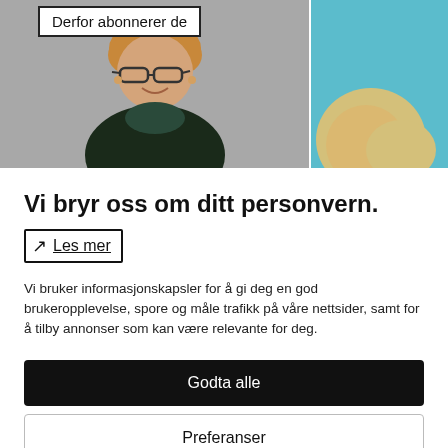[Figure (photo): Two photos side by side: left shows a smiling woman with short blond hair and glasses wearing dark clothing, with a white label box overlay reading 'Derfor abonnerer de'; right shows a partial view of another person against a teal background.]
Vi bryr oss om ditt personvern.
Les mer
Vi bruker informasjonskapsler for å gi deg en god brukeropplevelse, spore og måle trafikk på våre nettsider, samt for å tilby annonser som kan være relevante for deg.
Godta alle
Preferanser